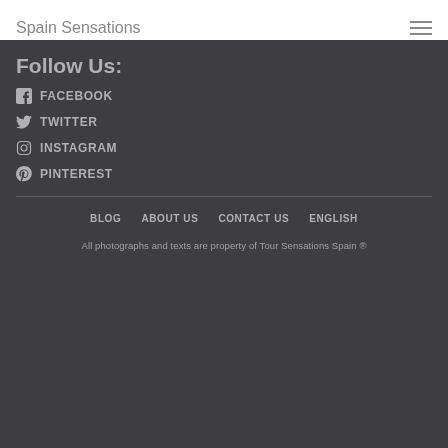Spain Sensations
Follow Us:
FACEBOOK
TWITTER
INSTAGRAM
PINTEREST
BLOG   ABOUT US   CONTACT US   ENGLISH
All photographs and texts are property of Tour Sensations Spain ®